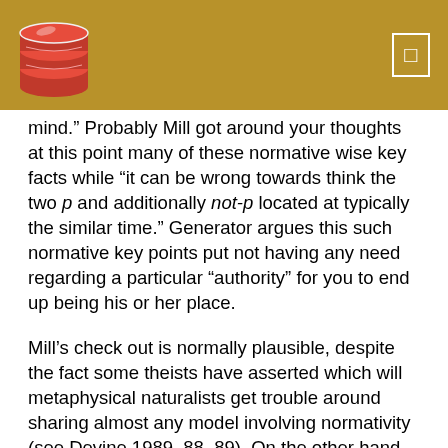[Logo and header bar with navigation icon]
mind." Probably Mill got around your thoughts at this point many of these normative wise key facts while “it can be wrong towards think the two p and additionally not-p located at typically the similar time.” Generator argues this such normative key points put not having any need regarding a particular “authority” for you to end up being his or her place.
Mill’s check out is normally plausible, despite the fact some theists have asserted which will metaphysical naturalists get trouble around sharing almost any model involving normativity (see Devine 1989, 88–89). On the other hand, possibly if perhaps Mill is definitely suitable approximately normativity during broad, the idea will do not really adopt the fact that their see is actually suitable just for agreements, of which experience a fabulous distinctive character.